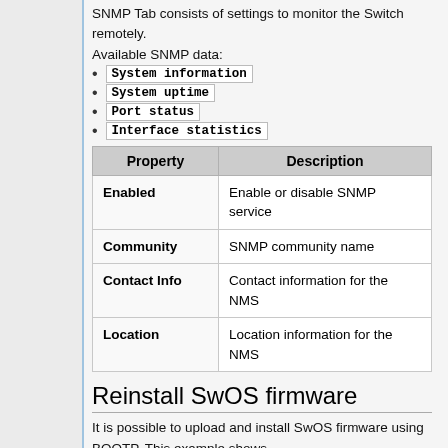SNMP Tab consists of settings to monitor the Switch remotely.
Available SNMP data:
System information
System uptime
Port status
Interface statistics
| Property | Description |
| --- | --- |
| Enabled | Enable or disable SNMP service |
| Community | SNMP community name |
| Contact Info | Contact information for the NMS |
| Location | Location information for the NMS |
Reinstall SwOS firmware
It is possible to upload and install SwOS firmware using BOOTP. This example shows